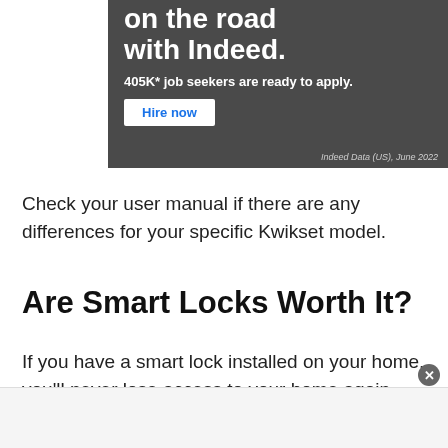[Figure (screenshot): Indeed advertisement banner with dark gray background showing 'on the road with Indeed.' headline, '405K* job seekers are ready to apply.' subheadline, and a 'Hire now' button. Source: Indeed Data (US), June 2022]
Check your user manual if there are any differences for your specific Kwikset model.
Are Smart Locks Worth It?
If you have a smart lock installed on your home, you'll never lose access to your home again. They make life
[Figure (screenshot): Bottom advertisement banner (partially visible, gray background)]